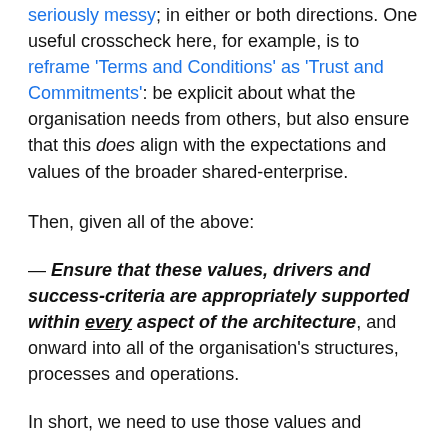seriously messy; in either or both directions. One useful crosscheck here, for example, is to reframe 'Terms and Conditions' as 'Trust and Commitments': be explicit about what the organisation needs from others, but also ensure that this does align with the expectations and values of the broader shared-enterprise.
Then, given all of the above:
— Ensure that these values, drivers and success-criteria are appropriately supported within every aspect of the architecture, and onward into all of the organisation's structures, processes and operations.
In short, we need to use those values and